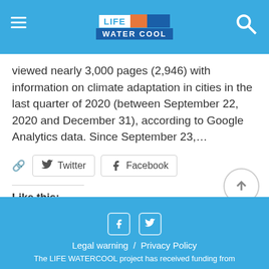LIFE WATER COOL
viewed nearly 3,000 pages (2,946) with information on climate adaptation in cities in the last quarter of 2020 (between September 22, 2020 and December 31), according to Google Analytics data. Since September 23,...
Twitter  Facebook
Like this:
Loading...
Legal warning  /  Privacy Policy
The LIFE WATERCOOL project has received funding from...